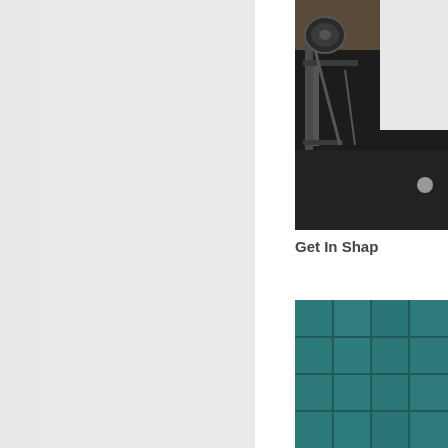[Figure (photo): Left panel with light gray background, partially visible sidebar navigation area]
[Figure (photo): Gym/exercise room photo showing rowing machine equipment on dark rubber floor, with white wall or furniture partially visible, and a small round object on the floor]
Get In Shap
[Figure (photo): Close-up of teal/dark green rubber gym flooring tiles with visible seams between tiles]